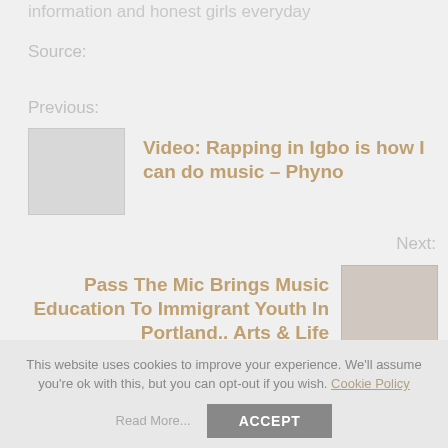information and honest girls everyday
Source:
Previous:
[Figure (photo): Thumbnail image placeholder for previous article]
Video: Rapping in Igbo is how I can do music – Phyno
Next:
Pass The Mic Brings Music Education To Immigrant Youth In Portland.. Arts & Life
[Figure (photo): Thumbnail image for next article]
This website uses cookies to improve your experience. We'll assume you're ok with this, but you can opt-out if you wish. Cookie Policy
Read More